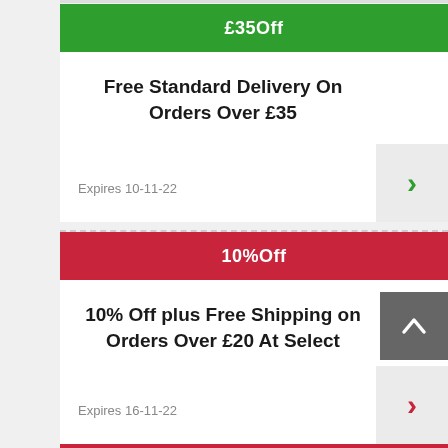£35Off
Free Standard Delivery On Orders Over £35
Expires 10-11-22
10%Off
10% Off plus Free Shipping on Orders Over £20 At Select
Expires 16-11-22